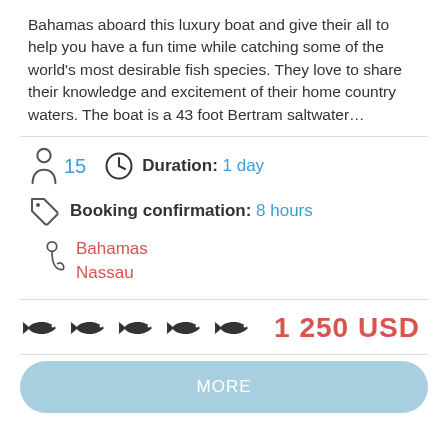Bahamas aboard this luxury boat and give their all to help you have a fun time while catching some of the world's most desirable fish species. They love to share their knowledge and excitement of their home country waters. The boat is a 43 foot Bertram saltwater...
15  Duration: 1 day
Booking confirmation: 8 hours
Bahamas
Nassau
1 250 USD
MORE